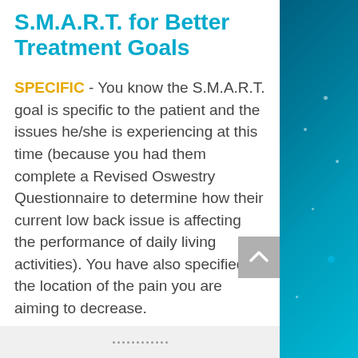S.M.A.R.T. for Better Treatment Goals
SPECIFIC - You know the S.M.A.R.T. goal is specific to the patient and the issues he/she is experiencing at this time (because you had them complete a Revised Oswestry Questionnaire to determine how their current low back issue is affecting the performance of daily living activities). You have also specified the location of the pain you are aiming to decrease.